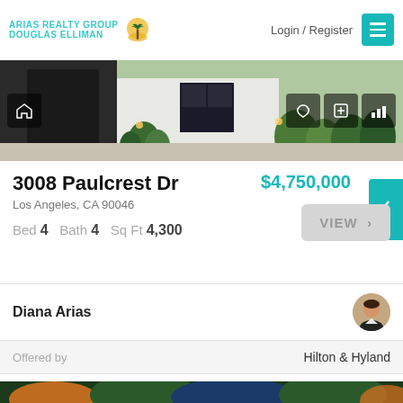ARIAS REALTY GROUP DOUGLAS ELLIMAN | Login / Register
[Figure (photo): Exterior photo of modern white home with black garage door, lush tropical plants, and outdoor lighting]
3008 Paulcrest Dr
$4,750,000
Los Angeles, CA 90046
Bed 4   Bath 4   Sq Ft 4,300
VIEW >
Diana Arias
Offered by   Hilton & Hyland
[Figure (photo): Partial view of another property listing at the bottom of the page]